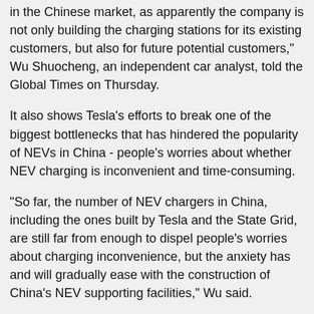in the Chinese market, as apparently the company is not only building the charging stations for its existing customers, but also for future potential customers," Wu Shuocheng, an independent car analyst, told the Global Times on Thursday.
It also shows Tesla's efforts to break one of the biggest bottlenecks that has hindered the popularity of NEVs in China - people's worries about whether NEV charging is inconvenient and time-consuming.
"So far, the number of NEV chargers in China, including the ones built by Tesla and the State Grid, are still far from enough to dispel people's worries about charging inconvenience, but the anxiety has and will gradually ease with the construction of China's NEV supporting facilities," Wu said.
In April, 72,000 NEVs were sold in China, up by 9.7 percent compared with March but down 26.5 percent on a yearly basis, according to data from the China Association of Automobile Manufacturers.